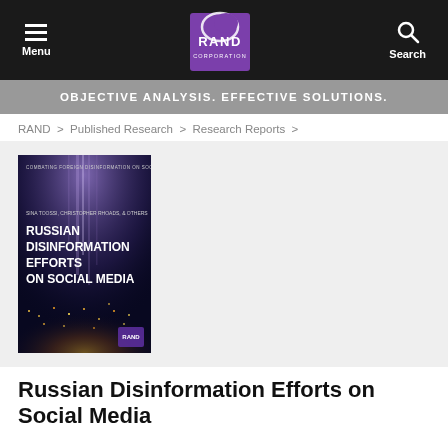Menu  RAND Corporation  Search
OBJECTIVE ANALYSIS. EFFECTIVE SOLUTIONS.
RAND > Published Research > Research Reports >
[Figure (illustration): Book cover of 'Russian Disinformation Efforts on Social Media' published by RAND Corporation. Dark background with light beams and an aerial cityscape at the bottom. White text title on cover.]
Russian Disinformation Efforts on Social Media